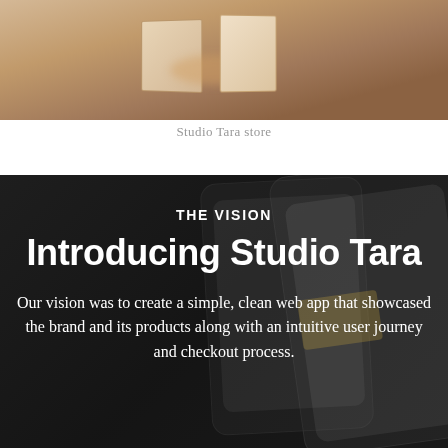[Figure (photo): Photo of Studio Tara store interior showing retail display items on a surface]
Studio Tara store
[Figure (photo): Dark background with phone/tablet mockups showing app screens]
THE VISION
Introducing Studio Tara
Our vision was to create a simple, clean web app that showcased the brand and its products along with an intuitive user journey and checkout process.